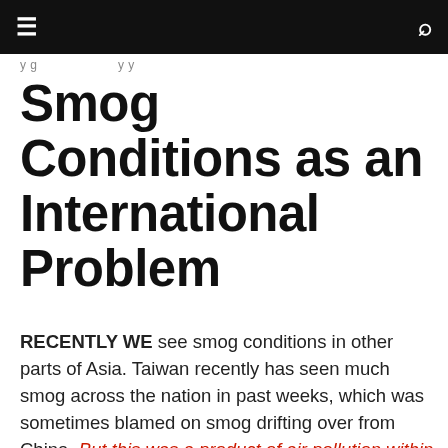≡  [navigation]  🔍
Smog Conditions as an International Problem
RECENTLY WE see smog conditions in other parts of Asia. Taiwan recently has seen much smog across the nation in past weeks, which was sometimes blamed on smog drifting over from China. But this was a product of air pollution within Taiwan itself. Smog conditions in Taipei at 60 micrograms still does not compare to conditions in Beijing, over ten times worse, though still